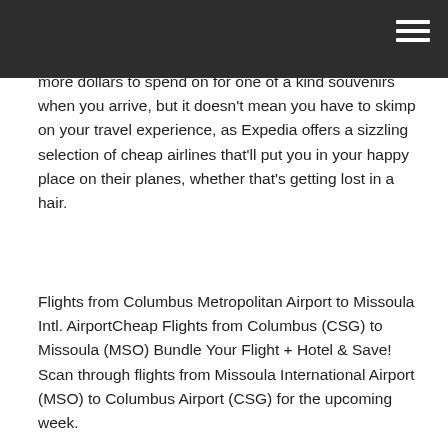more dollars to spend on for one of a kind souvenirs when you arrive, but it doesn't mean you have to skimp on your travel experience, as Expedia offers a sizzling selection of cheap airlines that'll put you in your happy place on their planes, whether that's getting lost in a hair.
Flights from Columbus Metropolitan Airport to Missoula Intl. AirportCheap Flights from Columbus (CSG) to Missoula (MSO) Bundle Your Flight + Hotel & Save! Scan through flights from Missoula International Airport (MSO) to Columbus Airport (CSG) for the upcoming week.
Sort the list by any column, and click on a dollar sign to see the latest prices available for each flight. Flights to Columbus, Columbus Metropolitan Airport (CSG), Georgia from Missoula (MSO)